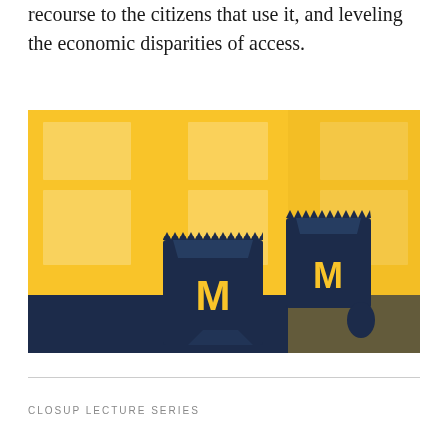recourse to the citizens that use it, and leveling the economic disparities of access.
[Figure (illustration): Illustration of two navy blue paper lunch bags with the University of Michigan block M logo in yellow/gold, sitting on a dark navy floor against a yellow background with window light patterns.]
CLOSUP LECTURE SERIES